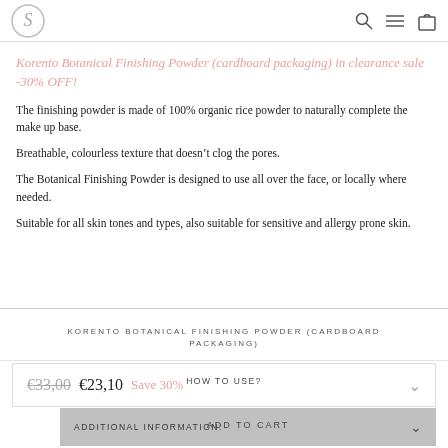[Logo icon] [Search icon] [Menu icon] [Cart icon]
Korento Botanical Finishing Powder (cardboard packaging) in clearance sale -30% OFF!
The finishing powder is made of 100% organic rice powder to naturally complete the make up base.
Breathable, colourless texture that doesn’t clog the pores.
The Botanical Finishing Powder is designed to use all over the face, or locally where needed.
Suitable for all skin tones and types, also suitable for sensitive and allergy prone skin.
KORENTO BOTANICAL FINISHING POWDER (CARDBOARD PACKAGING)
€33,00 €23,10 Save 30%
HOW TO USE?
ADDITIONAL INFORMATION:
ADD TO CART